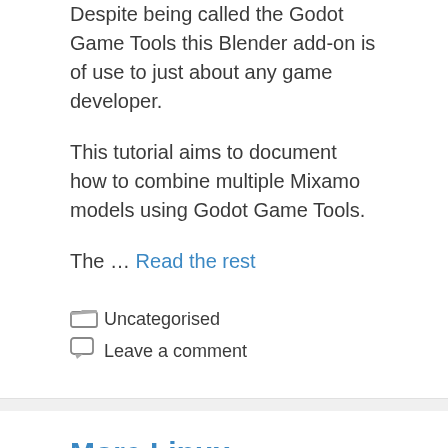Despite being called the Godot Game Tools this Blender add-on is of use to just about any game developer.
This tutorial aims to document how to combine multiple Mixamo models using Godot Game Tools.
The … Read the rest
Uncategorised
Leave a comment
More Linux Installation Instructions